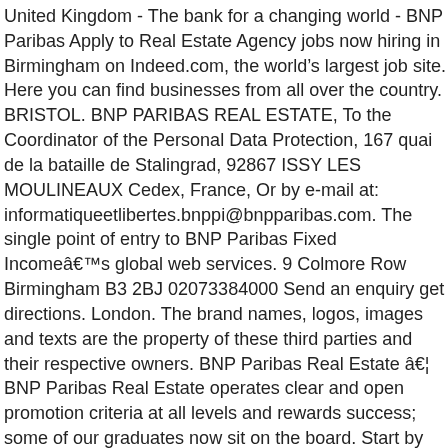United Kingdom - The bank for a changing world - BNP Paribas Apply to Real Estate Agency jobs now hiring in Birmingham on Indeed.com, the world's largest job site. Here you can find businesses from all over the country. BRISTOL. BNP PARIBAS REAL ESTATE, To the Coordinator of the Personal Data Protection, 167 quai de la bataille de Stalingrad, 92867 ISSY LES MOULINEAUX Cedex, France, Or by e-mail at: informatiqueetlibertes.bnppi@bnpparibas.com. The single point of entry to BNP Paribas Fixed Incomeâs global web services. 9 Colmore Row Birmingham B3 2BJ 02073384000 Send an enquiry get directions. London. The brand names, logos, images and texts are the property of these third parties and their respective owners. BNP Paribas Real Estate â¦ BNP Paribas Real Estate operates clear and open promotion criteria at all levels and rewards success; some of our graduates now sit on the board. Start by choosing a category from below and then follow the steps given. Newcastle W1J 5LQ, 9 Colmore Row London BNP Paribas Real Estateâs âPeople Finderâ